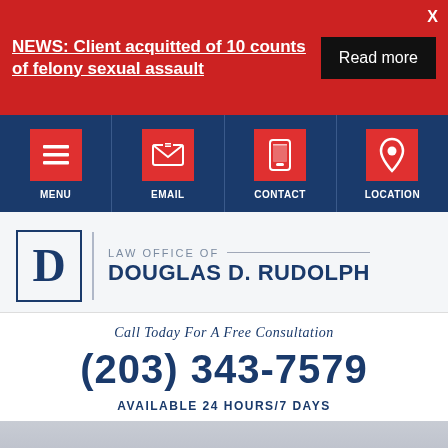NEWS: Client acquitted of 10 counts of felony sexual assault
Read more
[Figure (screenshot): Navigation bar with four icon buttons: MENU, EMAIL, CONTACT, LOCATION on dark blue background with red icon boxes]
[Figure (logo): Law Office of Douglas D. Rudolph logo with D letter mark]
Call Today For A Free Consultation
(203) 343-7579
AVAILABLE 24 HOURS/7 DAYS